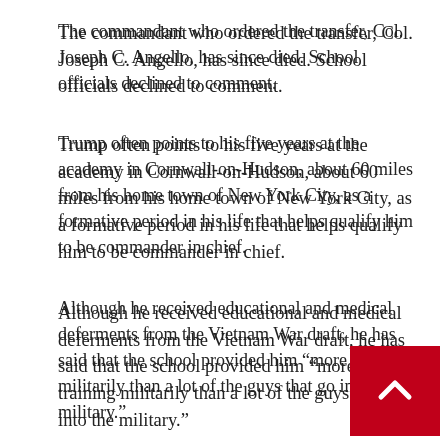The commandant who ordered the transfer, Col. Joseph C. Angello, has since died. School officials declined to comment.
Trump often points to his five years at the academy in Cornwall-on-Hudson, about 60 miles from his home town of New York City, as a formative period in his life that helps qualify him to be commander in chief.
Although he received educational and medical deferments from the Vietnam War draft, he has said that the school provided him “more training militarily than a lot of the guys that go into the military.”
Donald John Trump, pictured in his 1964 New York Military Academy yearbook. (Courtesy of New York Military Academy) “I did very well under the military system,” Trump said in an interview. “I became one of the top guys at the whole school.”
Interviews with cadets who knew him well and a close me reveal a more complex picture of Trump’s experience at t school. As a maturing teenager, he began to exhibit some of the traits the world would come to know through his fame as a real